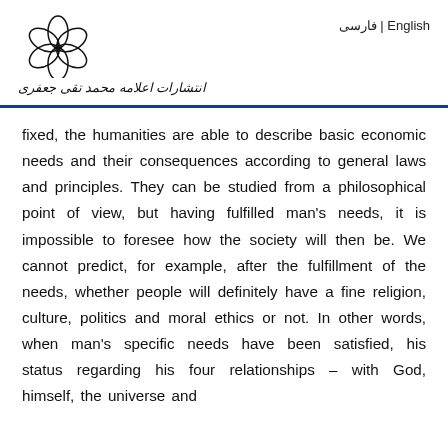[Figure (logo): Flower/rosette logo with six overlapping circular petals arranged in a circular pattern, above Arabic/Persian script text reading publisher name]
English | فارسی
fixed, the humanities are able to describe basic economic needs and their consequences according to general laws and principles. They can be studied from a philosophical point of view, but having fulfilled man's needs, it is impossible to foresee how the society will then be. We cannot predict, for example, after the fulfillment of the needs, whether people will definitely have a fine religion, culture, politics and moral ethics or not. In other words, when man's specific needs have been satisfied, his status regarding his four relationships – with God, himself, the universe and